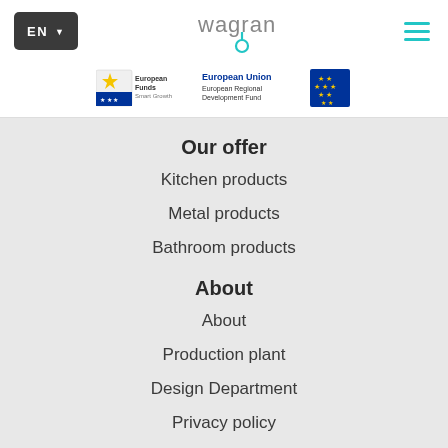[Figure (logo): Dark gray EN language selector button with dropdown arrow]
[Figure (logo): Wagran company logo in teal/gray lettering]
[Figure (logo): Hamburger menu icon with three teal lines]
[Figure (logo): European Funds Smart Growth logo and European Union European Regional Development Fund logo]
Our offer
Kitchen products
Metal products
Bathroom products
About
About
Production plant
Design Department
Privacy policy
Technology